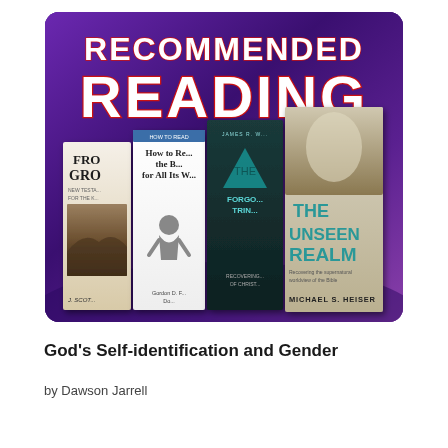[Figure (illustration): Recommended Reading graphic showing bold white text 'RECOMMENDED READING' on a purple background, with four overlapping book covers below: 'From the Ground' by J. Scott, 'How to Read the Bible for All Its Worth' by Gordon D. Fee and Douglas Stuart, 'The Forgotten Trinity' (recovering of Christianity), and 'The Unseen Realm' by Michael S. Heiser]
God's Self-identification and Gender
by Dawson Jarrell